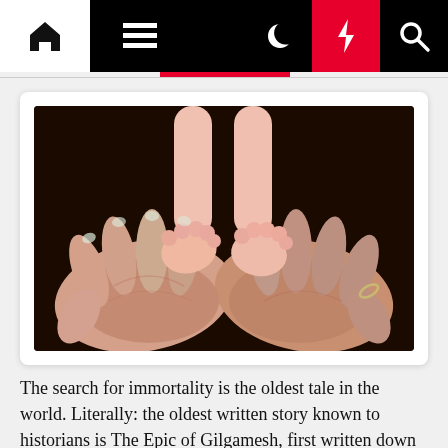[Navigation bar: home icon, menu icon, moon icon, lightning bolt icon, search icon]
[Figure (photo): Close-up photo of two adult hands cupped together holding two tiny newborn baby feet, with pink toes visible. The background is dark.]
The search for immortality is the oldest tale in the world. Literally: the oldest written story known to historians is The Epic of Gilgamesh, first written down in Sumerian cuneiform on clay tablets, about